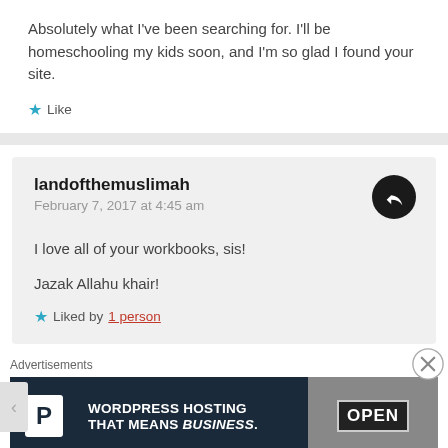Absolutely what I've been searching for. I'll be homeschooling my kids soon, and I'm so glad I found your site.
★ Like
landofthemuslimah
February 7, 2017 at 4:45 am
I love all of your workbooks, sis!

Jazak Allahu khair!
★ Liked by 1 person
Advertisements
[Figure (other): WordPress Hosting advertisement banner with P icon and OPEN sign photo. Text reads: WORDPRESS HOSTING THAT MEANS BUSINESS.]